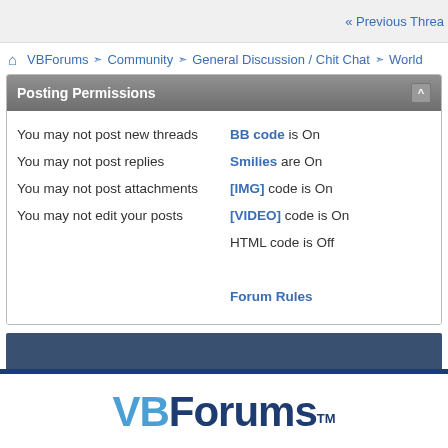« Previous Thread
VBForums ❯ Community ❯ General Discussion / Chit Chat ❯ World
|  |  |
| --- | --- |
| You may not post new threads | BB code is On |
| You may not post replies | Smilies are On |
| You may not post attachments | [IMG] code is On |
| You may not edit your posts | [VIDEO] code is On |
|  | HTML code is Off |
|  | Forum Rules |
[Figure (logo): VBForums logo with TM mark]
Terms of Service | About Us | Privacy Notice | Contact Us | Advertise | C
Copyright 2022 TechnologyAdvice. All Rights Res